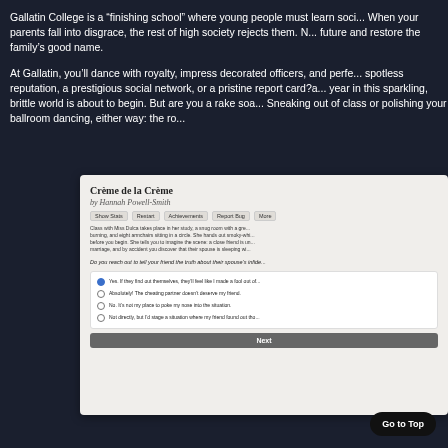Gallatin College is a “finishing school” where young people must learn soci... When your parents fall into disgrace, the rest of high society rejects them. N... future and restore the family’s good name.
At Gallatin, you’ll dance with royalty, impress decorated officers, and perfe... spotless reputation, a prestigious social network, or a pristine report card?a... year in this sparkling, brittle world is about to begin. But are you a rake soa... Sneaking out of class or polishing your ballroom dancing, either way: the ro...
[Figure (screenshot): Screenshot of a interactive fiction game interface titled 'Crème de la Crème' by Hannah Powell-Smith. Shows navigation tabs (Show Stats, Restart, Achievements, Report Bug, More), a passage of gameplay text about a class with Miss Dulca, a moral question about informing a friend of spousal infidelity, and multiple choice options with the first option selected. A 'Next' button appears at the bottom.]